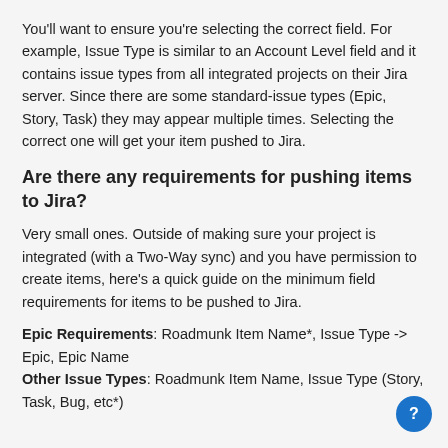You'll want to ensure you're selecting the correct field. For example, Issue Type is similar to an Account Level field and it contains issue types from all integrated projects on their Jira server. Since there are some standard-issue types (Epic, Story, Task) they may appear multiple times. Selecting the correct one will get your item pushed to Jira.
Are there any requirements for pushing items to Jira?
Very small ones. Outside of making sure your project is integrated (with a Two-Way sync) and you have permission to create items, here's a quick guide on the minimum field requirements for items to be pushed to Jira.
Epic Requirements: Roadmunk Item Name*, Issue Type -> Epic, Epic Name
Other Issue Types: Roadmunk Item Name, Issue Type (Story, Task, Bug, etc*)